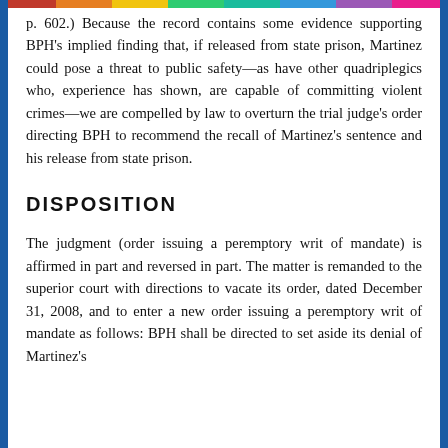p. 602.) Because the record contains some evidence supporting BPH's implied finding that, if released from state prison, Martinez could pose a threat to public safety—as have other quadriplegics who, experience has shown, are capable of committing violent crimes—we are compelled by law to overturn the trial judge's order directing BPH to recommend the recall of Martinez's sentence and his release from state prison.
DISPOSITION
The judgment (order issuing a peremptory writ of mandate) is affirmed in part and reversed in part. The matter is remanded to the superior court with directions to vacate its order, dated December 31, 2008, and to enter a new order issuing a peremptory writ of mandate as follows: BPH shall be directed to set aside its denial of Martinez's